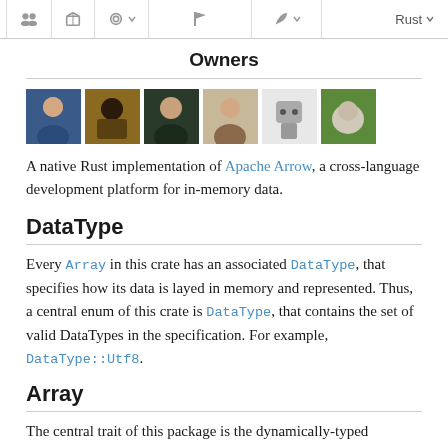Navigation bar with icons and Rust dropdown
Owners
[Figure (photo): Six owner avatar images displayed in a row]
A native Rust implementation of Apache Arrow, a cross-language development platform for in-memory data.
DataType
Every Array in this crate has an associated DataType, that specifies how its data is layed in memory and represented. Thus, a central enum of this crate is DataType, that contains the set of valid DataTypes in the specification. For example, DataType::Utf8.
Array
The central trait of this package is the dynamically-typed